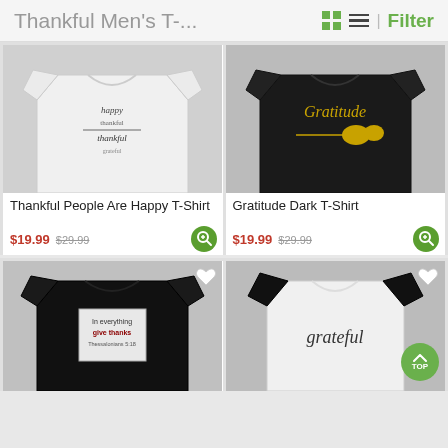Thankful Men's T-...
[Figure (photo): White t-shirt with handwritten thankful/happy text graphic worn by male model]
[Figure (photo): Black t-shirt with gold 'Gratitude' text and floral design worn by male model]
Thankful People Are Happy T-Shirt
$19.99  $29.99
Gratitude Dark T-Shirt
$19.99  $29.99
[Figure (photo): Black t-shirt with 'In everything give thanks Thessalonians 5:18' text in box design worn by male model]
[Figure (photo): White and black raglan baseball t-shirt with 'grateful' cursive script worn by male model]